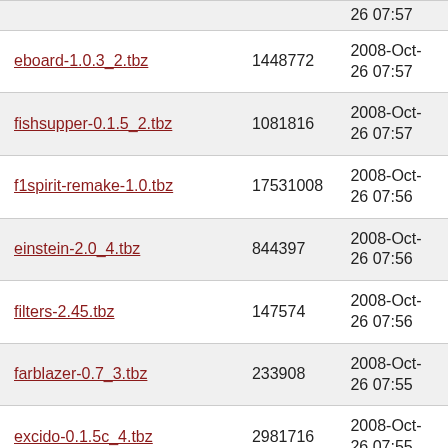| Filename | Size | Date |
| --- | --- | --- |
| eboard-1.0.3_2.tbz | 1448772 | 2008-Oct-26 07:57 |
| fishsupper-0.1.5_2.tbz | 1081816 | 2008-Oct-26 07:57 |
| f1spirit-remake-1.0.tbz | 17531008 | 2008-Oct-26 07:56 |
| einstein-2.0_4.tbz | 844397 | 2008-Oct-26 07:56 |
| filters-2.45.tbz | 147574 | 2008-Oct-26 07:56 |
| farblazer-0.7_3.tbz | 233908 | 2008-Oct-26 07:55 |
| excido-0.1.5c_4.tbz | 2981716 | 2008-Oct-26 07:55 |
| fargoal-20040629_1.tbz | 454318 | 2008-Oct-26 07:55 |
| euchre-0.7_4.tbz | 143798 | 2008-Oct-26 07:55 |
| fkiss-0.33a_2.tbz | 108545 | 2008-Oct-26 07:55 |
| exhaust-1.9.2.tbz | 15025 | 2008-Oct-26 07:55 |